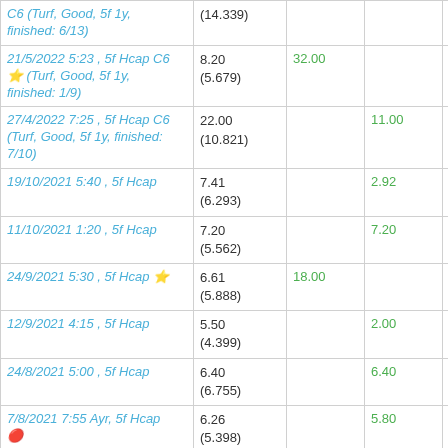| Race | Odds | Win | Place | Returns |
| --- | --- | --- | --- | --- |
| C6 (Turf, Good, 5f 1y, finished: 6/13) | (14.339) |  |  |  |
| 21/5/2022 5:23 , 5f Hcap C6 ⭐ (Turf, Good, 5f 1y, finished: 1/9) | 8.20 (5.679) | 32.00 |  | £80271.20 |
| 27/4/2022 7:25 , 5f Hcap C6 (Turf, Good, 5f 1y, finished: 7/10) | 22.00 (10.821) |  | 11.00 | £564.11 |
| 19/10/2021 5:40 , 5f Hcap | 7.41 (6.293) |  | 2.92 | £11340.07 |
| 11/10/2021 1:20 , 5f Hcap | 7.20 (5.562) |  | 7.20 | £1271.09 |
| 24/9/2021 5:30 , 5f Hcap ⭐ | 6.61 (5.888) | 18.00 |  | £29910.70 |
| 12/9/2021 4:15 , 5f Hcap | 5.50 (4.399) |  | 2.00 | £7283.58 |
| 24/8/2021 5:00 , 5f Hcap | 6.40 (6.755) |  | 6.40 | £1775.64 |
| 7/8/2021 7:55 Ayr, 5f Hcap 🔴 | 6.26 (5.398) |  | 5.80 | £1583.55 |